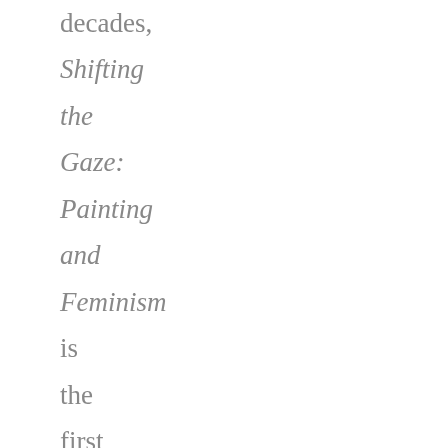decades, Shifting the Gaze: Painting and Feminism is the first exhibition at The Jewish Museum to address directly the influence of feminism on visual